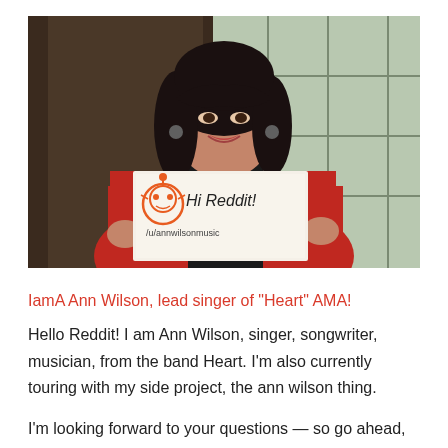[Figure (photo): A woman with dark hair holding a sign that reads 'Hi Reddit! /u/annwilsonmusic' with a Reddit alien logo drawn on it. She is wearing a red jacket and black top, standing in front of a Japanese-style screen door.]
IamA Ann Wilson, lead singer of “Heart” AMA!
Hello Reddit! I am Ann Wilson, singer, songwriter, musician, from the band Heart. I’m also currently touring with my side project, the ann wilson thing.
I’m looking forward to your questions — so go ahead,